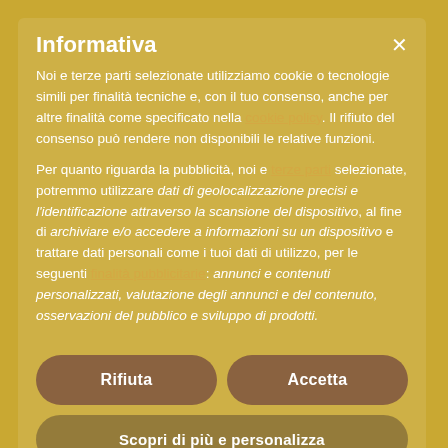Informativa
Noi e terze parti selezionate utilizziamo cookie o tecnologie simili per finalità tecniche e, con il tuo consenso, anche per altre finalità come specificato nella cookie policy. Il rifiuto del consenso può rendere non disponibili le relative funzioni.
Per quanto riguarda la pubblicità, noi e terze parti selezionate, potremmo utilizzare dati di geolocalizzazione precisi e l'identificazione attraverso la scansione del dispositivo, al fine di archiviare e/o accedere a informazioni su un dispositivo e trattare dati personali come i tuoi dati di utilizzo, per le seguenti finalità pubblicitarie: annunci e contenuti personalizzati, valutazione degli annunci e del contenuto, osservazioni del pubblico e sviluppo di prodotti.
Rifiuta
Accetta
Scopri di più e personalizza